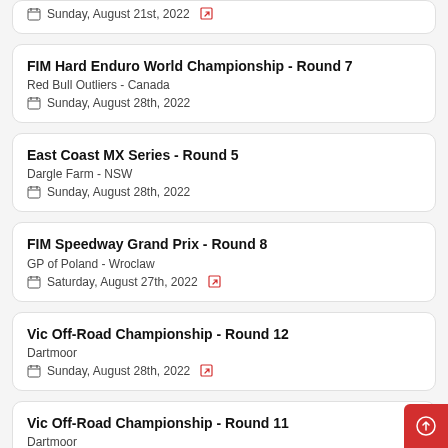Sunday, August 21st, 2022
FIM Hard Enduro World Championship - Round 7
Red Bull Outliers - Canada
Sunday, August 28th, 2022
East Coast MX Series - Round 5
Dargle Farm - NSW
Sunday, August 28th, 2022
FIM Speedway Grand Prix - Round 8
GP of Poland - Wroclaw
Saturday, August 27th, 2022
Vic Off-Road Championship - Round 12
Dartmoor
Sunday, August 28th, 2022
Vic Off-Road Championship - Round 11
Dartmoor